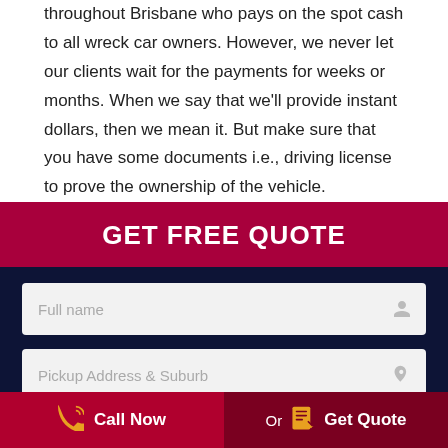throughout Brisbane who pays on the spot cash to all wreck car owners. However, we never let our clients wait for the payments for weeks or months. When we say that we'll provide instant dollars, then we mean it. But make sure that you have some documents i.e., driving license to prove the ownership of the vehicle.
GET FREE QUOTE
[Figure (screenshot): Web form with two input fields: 'Full name' and 'Pickup Address & Suburb', on a dark navy background, below a crimson GET FREE QUOTE header banner.]
Call Now   Or   Get Quote